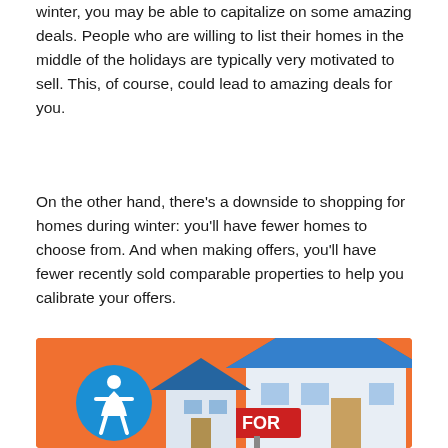winter, you may be able to capitalize on some amazing deals. People who are willing to list their homes in the middle of the holidays are typically very motivated to sell. This, of course, could lead to amazing deals for you.
On the other hand, there’s a downside to shopping for homes during winter: you’ll have fewer homes to choose from. And when making offers, you’ll have fewer recently sold comparable properties to help you calibrate your offers.
[Figure (illustration): Illustration on orange background showing a cartoon house with blue roof and a For Sale sign, with a small accessibility icon circle on the left side.]